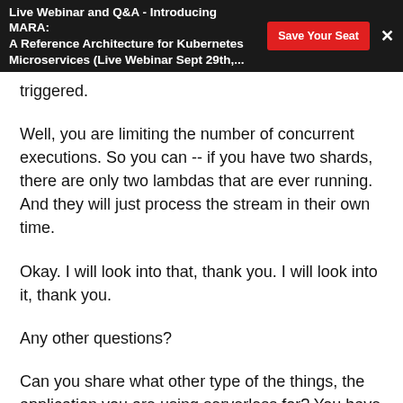Live Webinar and Q&A - Introducing MARA: A Reference Architecture for Kubernetes Microservices (Live Webinar Sept 29th,...
triggered.
Well, you are limiting the number of concurrent executions. So you can -- if you have two shards, there are only two lambdas that are ever running. And they will just process the stream in their own time.
Okay. I will look into that, thank you. I will look into it, thank you.
Any other questions?
Can you share what other type of the things, the application you are using serverless for? You have six serverless applications, one is for the pipeline,